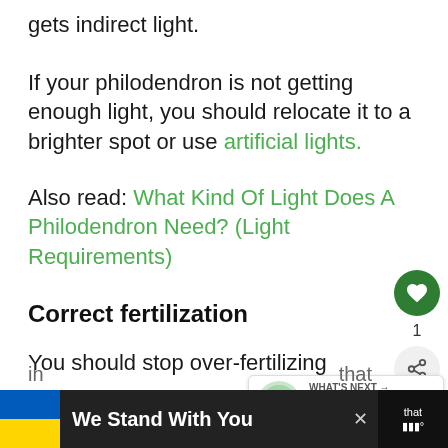gets indirect light.
If your philodendron is not getting enough light, you should relocate it to a brighter spot or use artificial lights.
Also read: What Kind Of Light Does A Philodendron Need? (Light Requirements)
Correct fertilization
You should stop over-fertilizing
[Figure (other): Circular green heart/like button, count of 1, and share button on the right sidebar]
[Figure (other): What's Next widget showing a plant thumbnail and text 'What Kind Of Pot Is Best F...']
[Figure (other): Bottom banner with Ukraine flag colors and text 'We Stand With You']